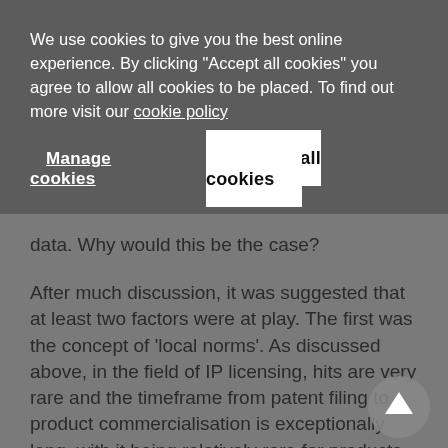We use cookies to give you the best online experience. By clicking "Accept all cookies" you agree to allow all cookies to be placed. To find out more visit our cookie policy
Manage cookies
Accept all cookies
data. Why would this be the case?
After much discussion, it was suggested that at least two factors were at play. The first was the concept of 'local norms'. As discussed above, in the field of IP licensing, hits are very rare and the timeframe from patent filing to product commercialisation is exceptionally long, with it being relatively rare for products to reach the market. By definition, inventions that do not get